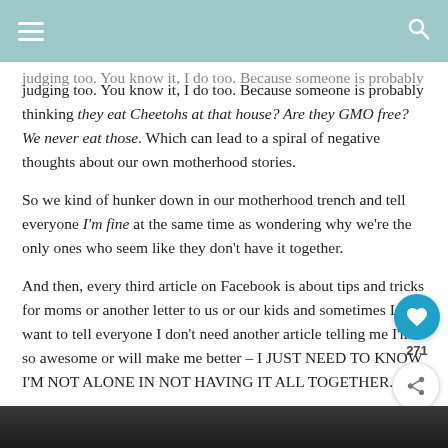judging too. You know it, I do too. Because someone is probably thinking they eat Cheetohs at that house? Are they GMO free? We never eat those. Which can lead to a spiral of negative thoughts about our own motherhood stories.
So we kind of hunker down in our motherhood trench and tell everyone I'm fine at the same time as wondering why we're the only ones who seem like they don't have it together.
And then, every third article on Facebook is about tips and tricks for moms or another letter to us or our kids and sometimes I just want to tell everyone I don't need another article telling me I'm so awesome or will make me better – I JUST NEED TO KNOW I'M NOT ALONE IN NOT HAVING IT ALL TOGETHER.
[Figure (photo): Dark photo strip at the bottom of the page]